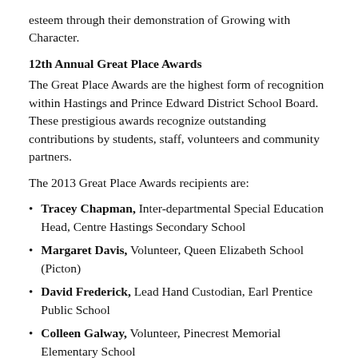esteem through their demonstration of Growing with Character.
12th Annual Great Place Awards
The Great Place Awards are the highest form of recognition within Hastings and Prince Edward District School Board. These prestigious awards recognize outstanding contributions by students, staff, volunteers and community partners.
The 2013 Great Place Awards recipients are:
Tracey Chapman, Inter-departmental Special Education Head, Centre Hastings Secondary School
Margaret Davis, Volunteer, Queen Elizabeth School (Picton)
David Frederick, Lead Hand Custodian, Earl Prentice Public School
Colleen Galway, Volunteer, Pinecrest Memorial Elementary School
Judy Hatton, Volunteer, Hermon Public School